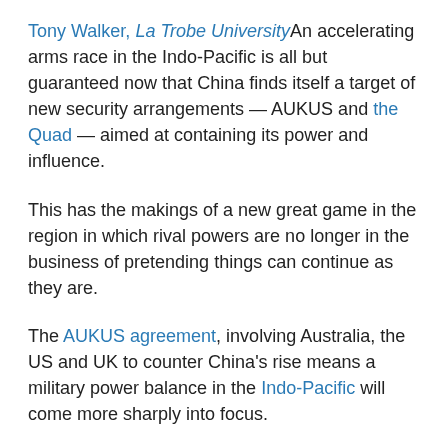Tony Walker, La Trobe University An accelerating arms race in the Indo-Pacific is all but guaranteed now that China finds itself a target of new security arrangements — AUKUS and the Quad — aimed at containing its power and influence.
This has the makings of a new great game in the region in which rival powers are no longer in the business of pretending things can continue as they are.
The AUKUS agreement, involving Australia, the US and UK to counter China's rise means a military power balance in the Indo-Pacific will come more sharply into focus.
The region has been re-arming at rates faster than other parts of the world due largely to China's push to modernise its defence capabilities.